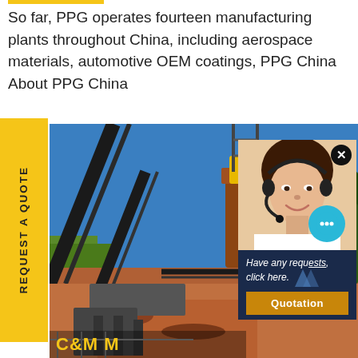So far, PPG operates fourteen manufacturing plants throughout China, including aerospace materials, automotive OEM coatings, PPG China About PPG China
[Figure (photo): Industrial mining/crushing plant with conveyor belts, large machinery silos, and yellow hoppers against a blue sky, with red sandy ground]
[Figure (photo): Chat popup overlay showing a smiling woman with a headset, a teal chat bubble icon, navy blue background with italic text 'Have any requests, click here.' and a golden Quotation button]
REQUEST A QUOTE
Have any requests, click here.
Quotation
C&M M